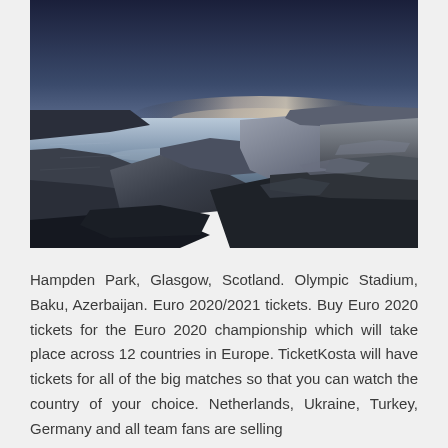[Figure (photo): Coastal landscape at dusk showing rocky shoreline with calm water and a soft glowing horizon. Large dark rocks fill the right side foreground, with still pale blue-purple water on the left. A faint pinkish glow near the horizon suggests twilight.]
Hampden Park, Glasgow, Scotland. Olympic Stadium, Baku, Azerbaijan. Euro 2020/2021 tickets. Buy Euro 2020 tickets for the Euro 2020 championship which will take place across 12 countries in Europe. TicketKosta will have tickets for all of the big matches so that you can watch the country of your choice. Netherlands, Ukraine, Turkey, Germany and all team fans are selling